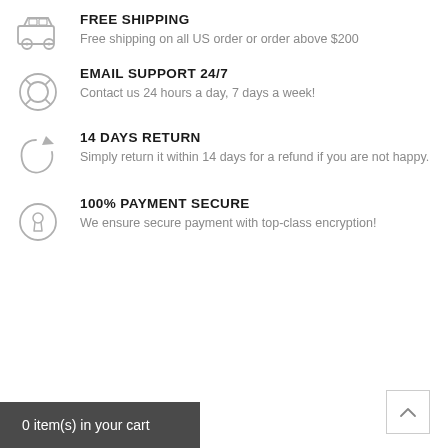FREE SHIPPING
Free shipping on all US order or order above $200
EMAIL SUPPORT 24/7
Contact us 24 hours a day, 7 days a week!
14 DAYS RETURN
Simply return it within 14 days for a refund if you are not happy.
100% PAYMENT SECURE
We ensure secure payment with top-class encryption!
0 item(s) in your cart